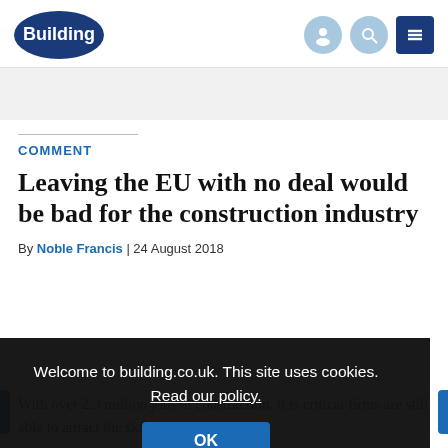Building
COMMENT
Leaving the EU with no deal would be bad for the construction industry
By Noble Francis | 24 August 2018
Welcome to building.co.uk. This site uses cookies. Read our policy.
OK
With over 2.3 million jobs in construction, it is critical firms are still able to attract the skills, and trade in vital